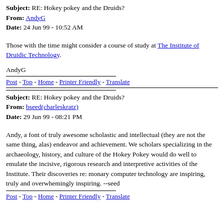Subject: RE: Hokey pokey and the Druids?
From: AndyG
Date: 24 Jun 99 - 10:52 AM
Those with the time might consider a course of study at The Institute of Druidic Technology.
AndyG
Post - Top - Home - Printer Friendly - Translate
Subject: RE: Hokey pokey and the Druids?
From: bseed(charleskratz)
Date: 29 Jun 99 - 08:21 PM
Andy, a font of truly awesome scholastic and intellectual (they are not the same thing, alas) endeavor and achievement. We scholars specializing in the archaeology, history, and culture of the Hokey Pokey would do well to emulate the incisive, rigorous research and interpretive activities of the Institute. Their discoveries re: monary computer technology are inspiring, truly and overwhemingly inspiring. --seed
Post - Top - Home - Printer Friendly - Translate